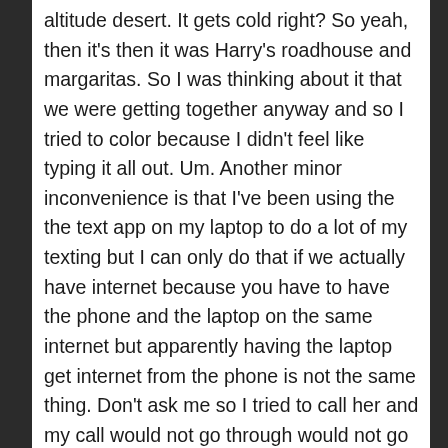altitude desert. It gets cold right? So yeah, then it's then it was Harry's roadhouse and margaritas. So I was thinking about it that we were getting together anyway and so I tried to color because I didn't feel like typing it all out. Um. Another minor inconvenience is that I've been using the the text app on my laptop to do a lot of my texting but I can only do that if we actually have internet because you have to have the phone and the laptop on the same internet but apparently having the laptop get internet from the phone is not the same thing. Don't ask me so I tried to call her and my call would not go through would not go through would not go through then she tried to call me back and leaves me a voicemail saying hey I saw you tried